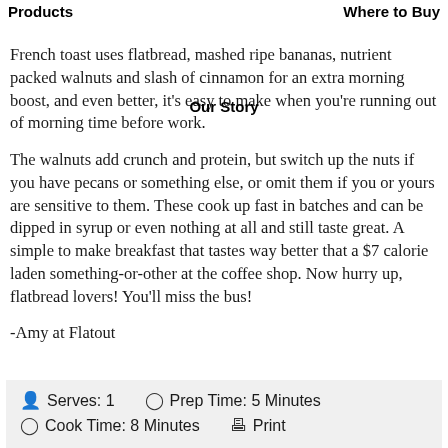Products | Our Story | Where to Buy
French toast uses flatbread, mashed ripe bananas, nutrient packed walnuts and slash of cinnamon for an extra morning boost, and even better, it's easy to make when you're running out of morning time before work.
The walnuts add crunch and protein, but switch up the nuts if you have pecans or something else, or omit them if you or yours are sensitive to them. These cook up fast in batches and can be dipped in syrup or even nothing at all and still taste great. A simple to make breakfast that tastes way better that a $7 calorie laden something-or-other at the coffee shop. Now hurry up, flatbread lovers! You'll miss the bus!
-Amy at Flatout
Serves: 1   Prep Time: 5 Minutes   Cook Time: 8 Minutes   Print